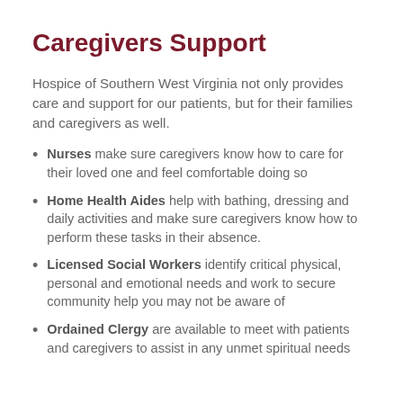Caregivers Support
Hospice of Southern West Virginia not only provides care and support for our patients, but for their families and caregivers as well.
Nurses make sure caregivers know how to care for their loved one and feel comfortable doing so
Home Health Aides help with bathing, dressing and daily activities and make sure caregivers know how to perform these tasks in their absence.
Licensed Social Workers identify critical physical, personal and emotional needs and work to secure community help you may not be aware of
Ordained Clergy are available to meet with patients and caregivers to assist in any unmet spiritual needs